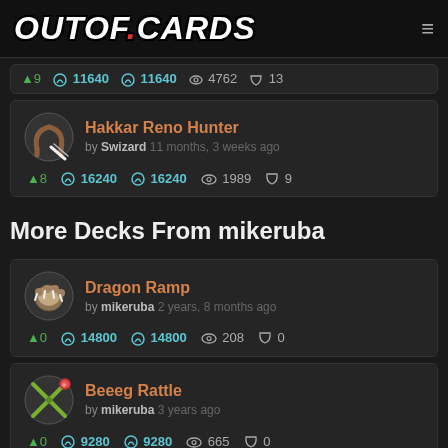OUTOF.CARDS
▲9  🧪11640  🧪11640  👁4762  💬13
Hakkar Reno Hunter by Swizard 11 months, 3 weeks ago ▲8 🧪16240 🧪16240 👁1989 💬9
More Decks From mikeruba
Dragon Ramp by mikeruba 2 years, 8 months ago ▲0 🧪14800 🧪14800 👁208 💬0
Beeeg Rattle by mikeruba 3 years ago ▲0 🧪9280 🧪9280 👁665 💬0